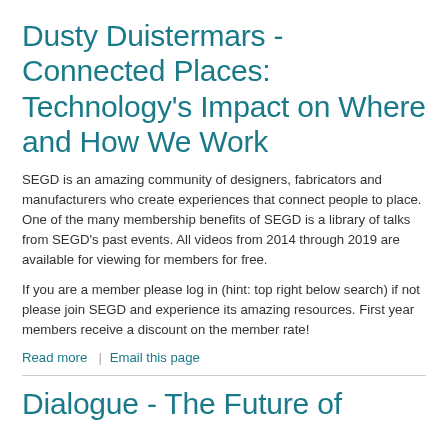Dusty Duistermars - Connected Places: Technology's Impact on Where and How We Work
SEGD is an amazing community of designers, fabricators and manufacturers who create experiences that connect people to place. One of the many membership benefits of SEGD is a library of talks from SEGD's past events. All videos from 2014 through 2019 are available for viewing for members for free.
If you are a member please log in (hint: top right below search) if not please join SEGD and experience its amazing resources. First year members receive a discount on the member rate!
Read more  |  Email this page
Dialogue - The Future of